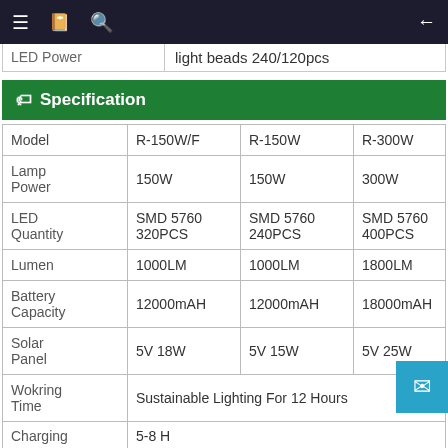Navigation bar with menu, book, search icons and back arrow
|  | 240/120pcs (partial) |
| --- | --- |
Specification
| Model | R-150W/F | R-150W | R-300W |
| --- | --- | --- | --- |
| Lamp Power | 150W | 150W | 300W |
| LED Quantity | SMD 5760 320PCS | SMD 5760 240PCS | SMD 5760 400PCS |
| Lumen | 1000LM | 1000LM | 1800LM |
| Battery Capacity | 12000mAH | 12000mAH | 18000mAH |
| Solar Panel | 5V 18W | 5V 15W | 5V 25W |
| Wokring Time | Sustainable Lighting For 12 Hours |  |  |
| Charging | 5-8 Hours (partial) |  |  |